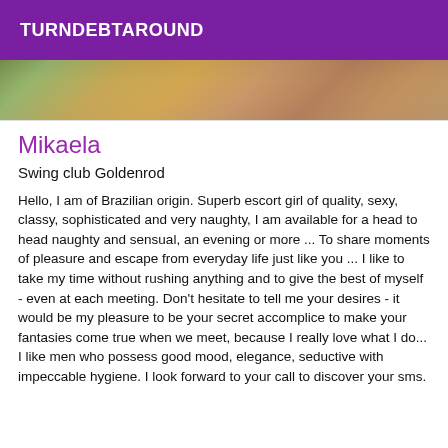TURNDEBTAROUND
[Figure (photo): Partial photo strip showing blurred image at top of listing card]
Mikaela
Swing club Goldenrod
Hello, I am of Brazilian origin. Superb escort girl of quality, sexy, classy, sophisticated and very naughty, I am available for a head to head naughty and sensual, an evening or more ... To share moments of pleasure and escape from everyday life just like you ... I like to take my time without rushing anything and to give the best of myself - even at each meeting. Don't hesitate to tell me your desires - it would be my pleasure to be your secret accomplice to make your fantasies come true when we meet, because I really love what I do... I like men who possess good mood, elegance, seductive with impeccable hygiene. I look forward to your call to discover your sms.